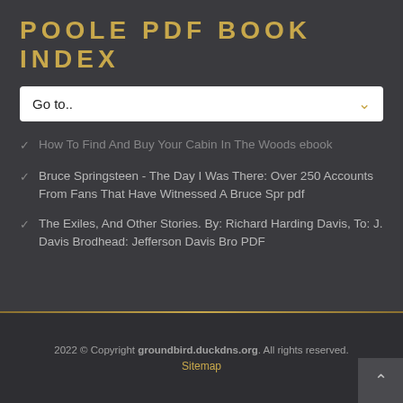POOLE PDF BOOK INDEX
How To Find And Buy Your Cabin In The Woods ebook
Bruce Springsteen - The Day I Was There: Over 250 Accounts From Fans That Have Witnessed A Bruce Spr pdf
The Exiles, And Other Stories. By: Richard Harding Davis, To: J. Davis Brodhead: Jefferson Davis Bro PDF
2022 © Copyright groundbird.duckdns.org. All rights reserved. Sitemap